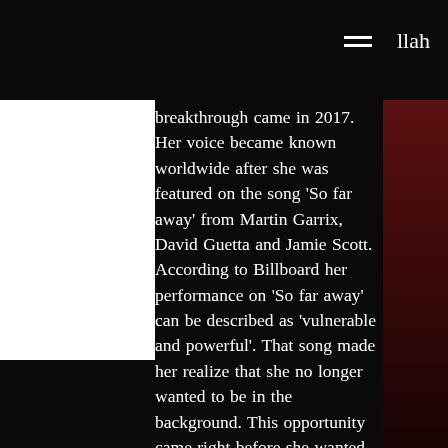llah
breakthrough came in 2017. Her voice became known worldwide after she was featured on the song ‘So far away’ from Martin Garrix, David Guetta and Jamie Scott. According to Billboard her performance on ‘So far away’ can be described as ‘vulnerable and powerful’. That song made her realize that she no longer wanted to be in the background. This opportunity came right before she wanted to quit music and worked as a lawyer. For her it was a clear sign that her purpose is to inspire as many people as possible through her music and personality. Following the release of her newest single "Unspoken" she